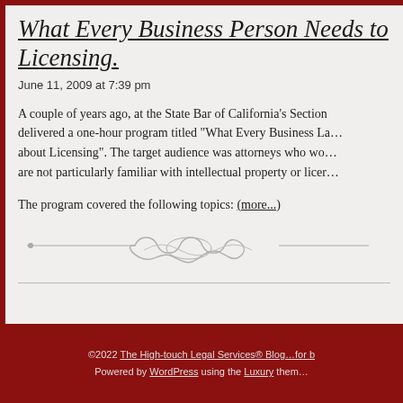What Every Business Person Needs to Know About Licensing
June 11, 2009 at 7:39 pm
A couple of years ago, at the State Bar of California's Section on... delivered a one-hour program titled "What Every Business Lawyer Needs to Know about Licensing". The target audience was attorneys who work with businesses but are not particularly familiar with intellectual property or licensing.
The program covered the following topics: (more...)
©2022 The High-touch Legal Services® Blog…for … Powered by WordPress using the Luxury them…